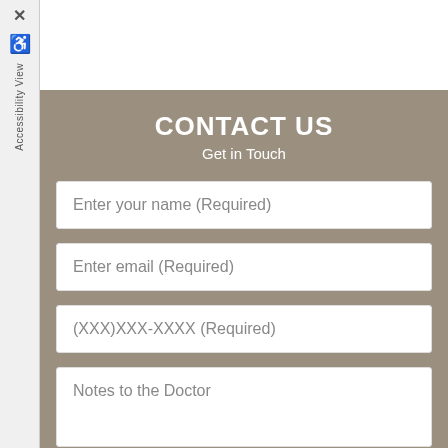CONTACT US
Get in Touch
Enter your name (Required)
Enter email (Required)
(XXX)XXX-XXXX (Required)
Notes to the Doctor